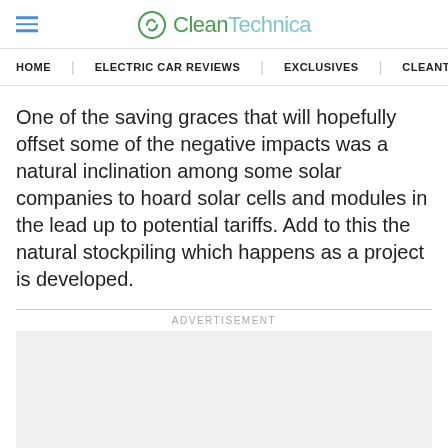CleanTechnica
HOME | ELECTRIC CAR REVIEWS | EXCLUSIVES | CLEANTECHN...
One of the saving graces that will hopefully offset some of the negative impacts was a natural inclination among some solar companies to hoard solar cells and modules in the lead up to potential tariffs. Add to this the natural stockpiling which happens as a project is developed.
ADVERTISEMENT